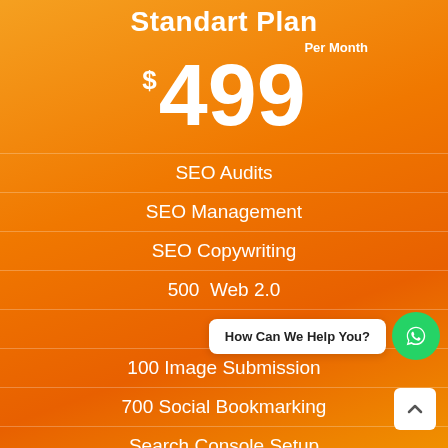Standart Plan
Per Month
$499
SEO Audits
SEO Management
SEO Copywriting
500  Web 2.0
300
100 Image Submission
700 Social Bookmarking
Search Console Setup
How Can We Help You?